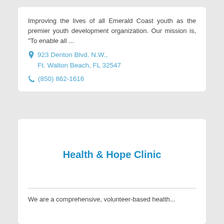Improving the lives of all Emerald Coast youth as the premier youth development organization. Our mission is, "To enable all ...
923 Denton Blvd. N.W., Ft. Walton Beach, FL 32547
(850) 862-1616
Health & Hope Clinic
We are a comprehensive, volunteer-based health...